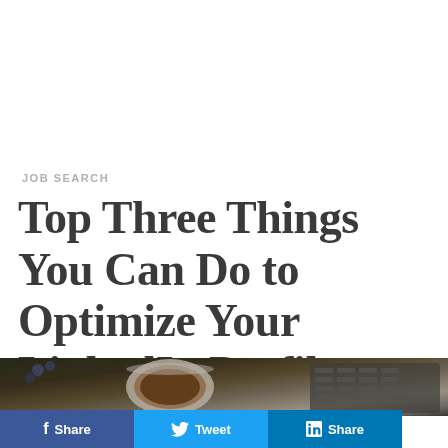JOB SEARCH
Top Three Things You Can Do to Optimize Your LinkedIn Profile
[Figure (photo): Dark overhead photo of a coffee cup and laptop keyboard on a wooden surface with some flowers visible]
Share | Tweet | Share (social media buttons: Facebook, Twitter, LinkedIn)